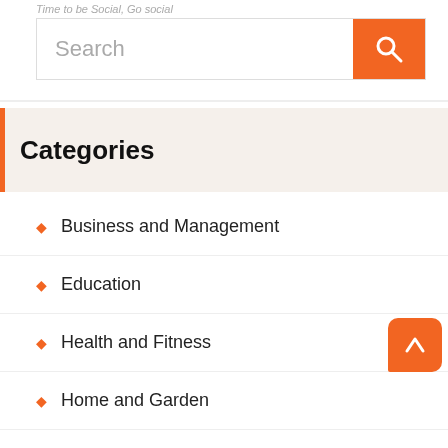Time to be Social, Go social
Search
Categories
Business and Management
Education
Health and Fitness
Home and Garden
Legal
Marketing and Advertising